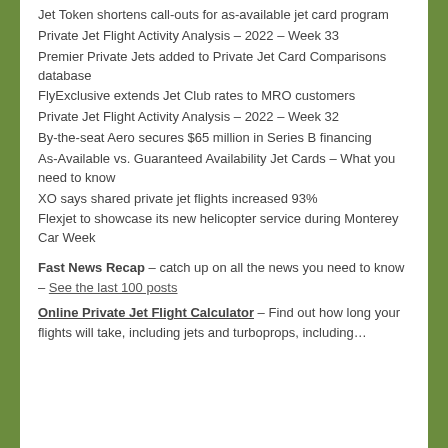Jet Token shortens call-outs for as-available jet card program
Private Jet Flight Activity Analysis – 2022 – Week 33
Premier Private Jets added to Private Jet Card Comparisons database
FlyExclusive extends Jet Club rates to MRO customers
Private Jet Flight Activity Analysis – 2022 – Week 32
By-the-seat Aero secures $65 million in Series B financing
As-Available vs. Guaranteed Availability Jet Cards – What you need to know
XO says shared private jet flights increased 93%
Flexjet to showcase its new helicopter service during Monterey Car Week
Fast News Recap – catch up on all the news you need to know – See the last 100 posts
Online Private Jet Flight Calculator – Find out how long your flights will take, including jets and turboprops, including…